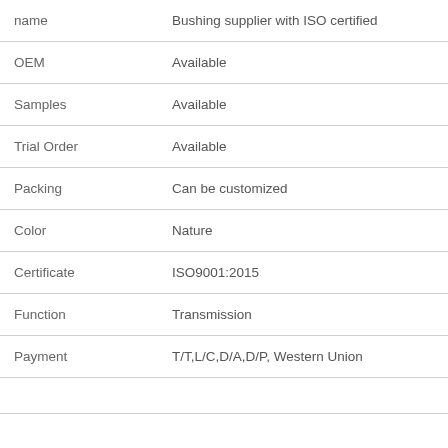| name | Bushing supplier with ISO certified |
| OEM | Available |
| Samples | Available |
| Trial Order | Available |
| Packing | Can be customized |
| Color | Nature |
| Certificate | ISO9001:2015 |
| Function | Transmission |
| Payment | T/T,L/C,D/A,D/P, Western Union |
|  |  |